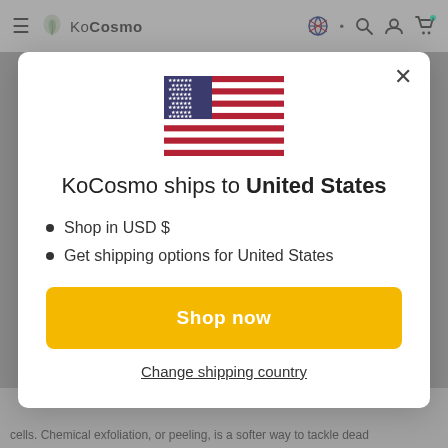KoCosmo
[Figure (illustration): US flag emoji/icon centered in modal dialog]
KoCosmo ships to United States
Shop in USD $
Get shipping options for United States
Shop now
Change shipping country
cells. Chemical exfoliation, or peeling, is a softer way to tackle dead